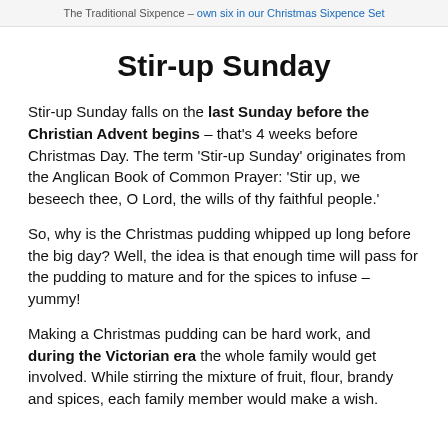The Traditional Sixpence – own six in our Christmas Sixpence Set
Stir-up Sunday
Stir-up Sunday falls on the last Sunday before the Christian Advent begins – that's 4 weeks before Christmas Day. The term 'Stir-up Sunday' originates from the Anglican Book of Common Prayer: 'Stir up, we beseech thee, O Lord, the wills of thy faithful people.'
So, why is the Christmas pudding whipped up long before the big day? Well, the idea is that enough time will pass for the pudding to mature and for the spices to infuse – yummy!
Making a Christmas pudding can be hard work, and during the Victorian era the whole family would get involved. While stirring the mixture of fruit, flour, brandy and spices, each family member would make a wish.